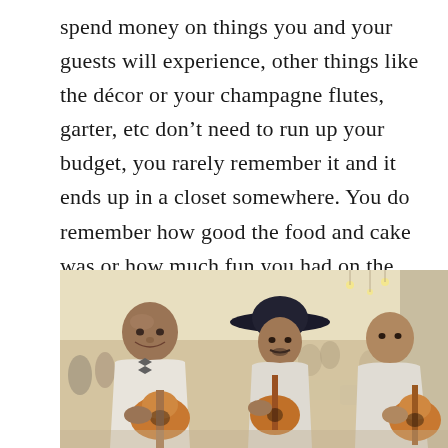spend money on things you and your guests will experience, other things like the décor or your champagne flutes, garter, etc don't need to run up your budget, you rarely remember it and it ends up in a closet somewhere. You do remember how good the food and cake was or how much fun you had on the dance floor, etc.
[Figure (photo): Three mariachi musicians in white shirts playing guitars at a wedding reception venue. The foreground musician is smiling and bald, the middle musician wears a sombrero, and the third is partially visible on the right. The background shows wedding guests seated at tables in a warmly lit banquet hall.]